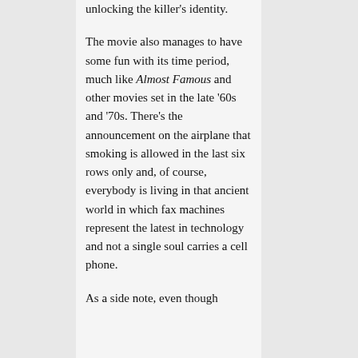unlocking the killer's identity.
The movie also manages to have some fun with its time period, much like Almost Famous and other movies set in the late '60s and '70s. There's the announcement on the airplane that smoking is allowed in the last six rows only and, of course, everybody is living in that ancient world in which fax machines represent the latest in technology and not a single soul carries a cell phone.
As a side note, even though